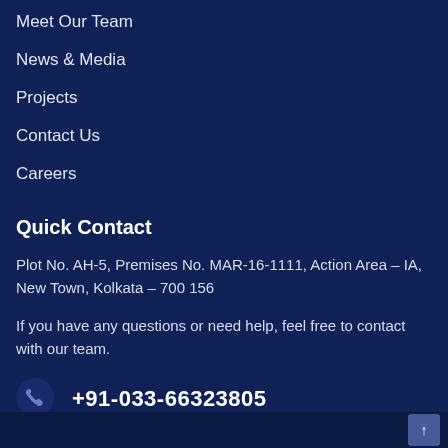Meet Our Team
News & Media
Projects
Contact Us
Careers
Quick Contact
Plot No. AH-5, Premises No. MAR-16-1111, Action Area – IA, New Town, Kolkata – 700 156
If you have any questions or need help, feel free to contact with our team.
+91-033-66323805
↑